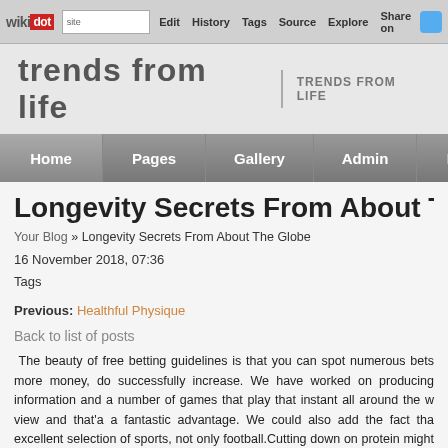wikidot | site | Edit | History | Tags | Source | Explore | Share on
trends from life | TRENDS FROM LIFE
Home | Pages | Gallery | Admin | Help
Longevity Secrets From About The Globe
Your Blog » Longevity Secrets From About The Globe
16 November 2018, 07:36
Tags
Previous: Healthful Physique
Back to list of posts
The beauty of free betting guidelines is that you can spot numerous bets more money, do successfully increase. We have worked on producing information and a number of games that play that instant all around the w view and that'a a fantastic advantage. We could also add the fact tha excellent selection of sports, not only football.Cutting down on protein might be the important to living a longer, healthier life, new analysis sugg consuming a junk food diet, or if you have a certain set of f